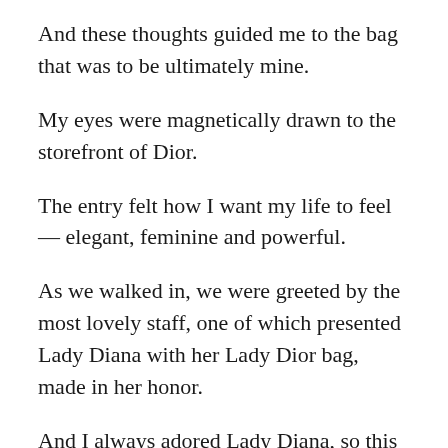And these thoughts guided me to the bag that was to be ultimately mine.
My eyes were magnetically drawn to the storefront of Dior.
The entry felt how I want my life to feel — elegant, feminine and powerful.
As we walked in, we were greeted by the most lovely staff, one of which presented Lady Diana with her Lady Dior bag, made in her honor.
And I always adored Lady Diana, so this was yet another sign!